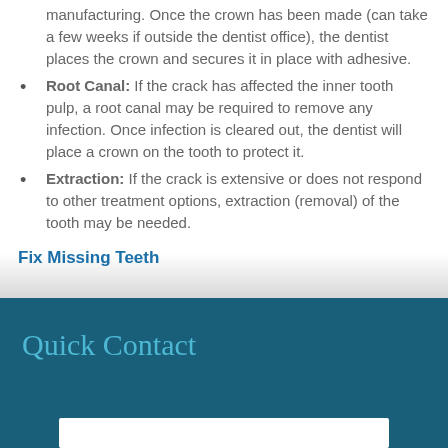manufacturing.  Once the crown has been made (can take a few weeks if outside the dentist office), the dentist places the crown and secures it in place with adhesive.
Root Canal:  If the crack has affected the inner tooth pulp, a root canal may be required to remove any infection.  Once infection is cleared out, the dentist will place a crown on the tooth to protect it.
Extraction:  If the crack is extensive or does not respond to other treatment options, extraction (removal) of the tooth may be needed.
Fix Missing Teeth
Quick Contact